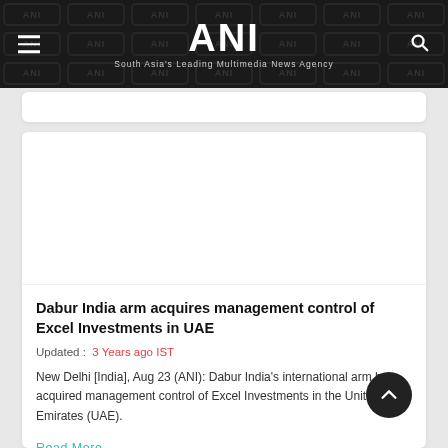ANI — South Asia's Leading Multimedia News Agency
Dabur India arm acquires management control of Excel Investments in UAE
Updated : 3 Years ago IST
New Delhi [India], Aug 23 (ANI): Dabur India's international arm has acquired management control of Excel Investments in the United Arab Emirates (UAE).
Read More